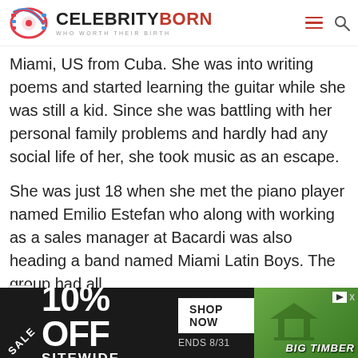CELEBRITY BORN — WHO WORTH THEIR BIRTH
Miami, US from Cuba. She was into writing poems and started learning the guitar while she was still a kid. Since she was battling with her personal family problems and hardly had any social life of her, she took music as an escape.
She was just 18 when she met the piano player named Emilio Estefan who along with working as a sales manager at Bacardi was also heading a band named Miami Latin Boys. The group had all
[Figure (other): Advertisement banner: SALE 10% OFF SITEWIDE SHOP NOW ENDS 8/31 BIG TIMBER]